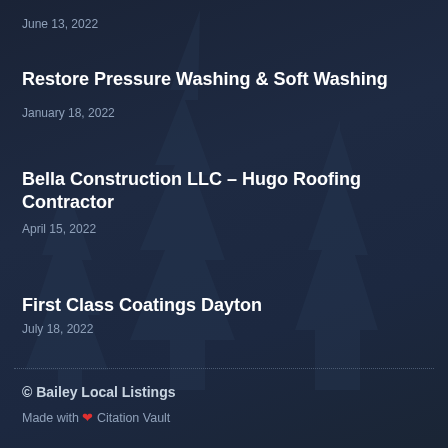June 13, 2022
Restore Pressure Washing & Soft Washing
January 18, 2022
Bella Construction LLC – Hugo Roofing Contractor
April 15, 2022
First Class Coatings Dayton
July 18, 2022
© Bailey Local Listings
Made with ❤ Citation Vault